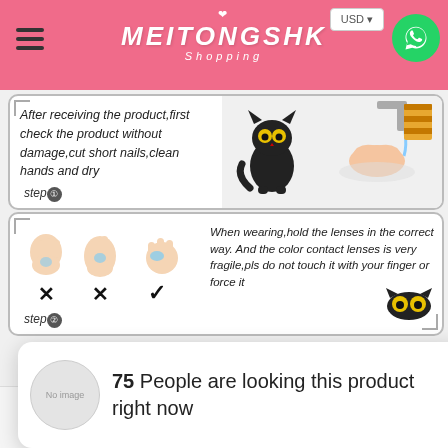MEITONGSHK Shopping
[Figure (infographic): Step 1 instruction box: After receiving the product, first check the product without damage, cut short nails, clean hands and dry. Shows cartoon cat and handwashing illustration. Label: step①]
[Figure (infographic): Step 2 instruction box: When wearing, hold the lenses in the correct way. And the color contact lenses is very fragile, pls do not touch it with your finger or force it. Shows three hand illustrations with X X ✓ marks and cartoon cat eyes. Label: step②]
75 People are looking this product right now
Default Title - $24.00  Add to cart